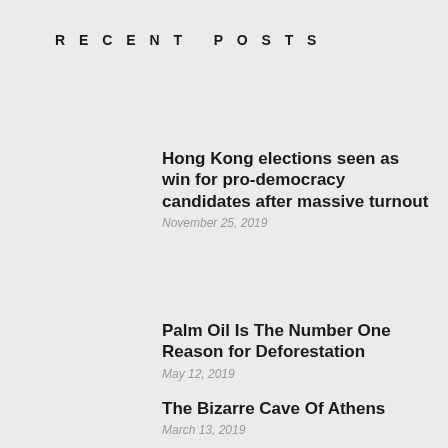Recent Posts
Hong Kong elections seen as win for pro-democracy candidates after massive turnout
November 25, 2019
Palm Oil Is The Number One Reason for Deforestation
May 12, 2019
The Bizarre Cave Of Athens
March 13, 2019
What to be expected from the US job reports of December